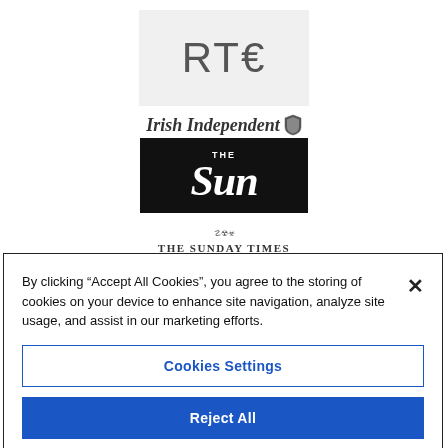[Figure (logo): RTE logo — grey background box with 'RTE' text and euro-like symbol]
[Figure (logo): Irish Independent logo in italic serif font with a shield icon]
[Figure (logo): The Sun newspaper logo — white italic text on black background]
[Figure (logo): The Sunday Times newspaper logo in serif bold caps with decorative emblem]
By clicking “Accept All Cookies”, you agree to the storing of cookies on your device to enhance site navigation, analyze site usage, and assist in our marketing efforts.
Cookies Settings
Reject All